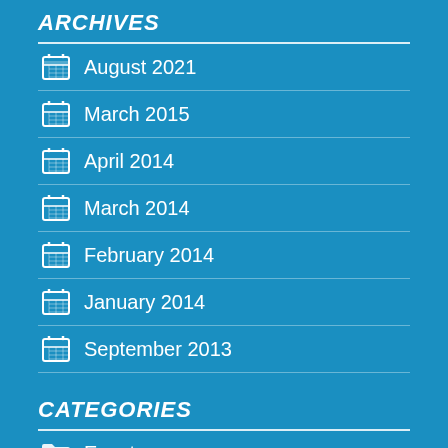ARCHIVES
August 2021
March 2015
April 2014
March 2014
February 2014
January 2014
September 2013
CATEGORIES
Events
Fashion
Lifestyle